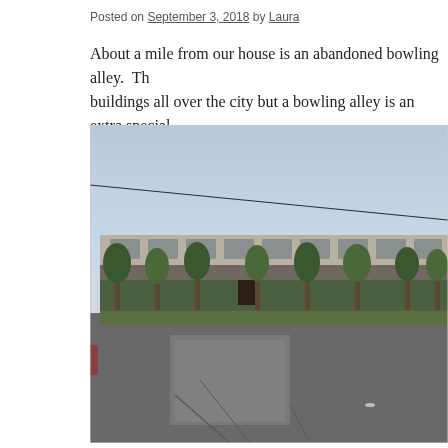Posted on September 3, 2018 by Laura
About a mile from our house is an abandoned bowling alley.  Th buildings all over the city but a bowling alley is an extra special
[Figure (photo): Exterior photograph of an abandoned bowling alley building with a large empty parking lot in the foreground, overgrown trees and vegetation around the building, taken at dusk or early morning with a pale sky.]